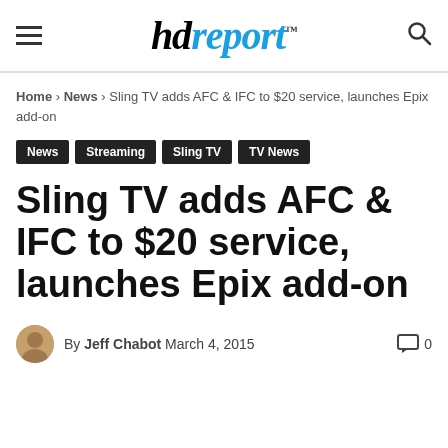hdreport
Home › News › Sling TV adds AFC & IFC to $20 service, launches Epix add-on
News
Streaming
Sling TV
TV News
Sling TV adds AFC & IFC to $20 service, launches Epix add-on
By Jeff Chabot March 4, 2015 · 0 comments